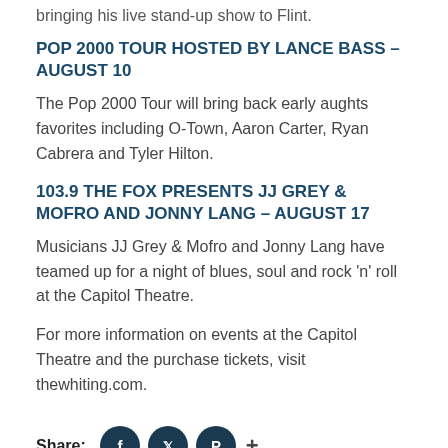bringing his live stand-up show to Flint.
POP 2000 TOUR HOSTED BY LANCE BASS – AUGUST 10
The Pop 2000 Tour will bring back early aughts favorites including O-Town, Aaron Carter, Ryan Cabrera and Tyler Hilton.
103.9 THE FOX PRESENTS JJ GREY & MOFRO AND JONNY LANG – AUGUST 17
Musicians JJ Grey & Mofro and Jonny Lang have teamed up for a night of blues, soul and rock 'n' roll at the Capitol Theatre.
For more information on events at the Capitol Theatre and the purchase tickets, visit thewhiting.com.
Share: [Facebook] [Twitter] [Pinterest] +
Categories: Explore Flint & Genesee